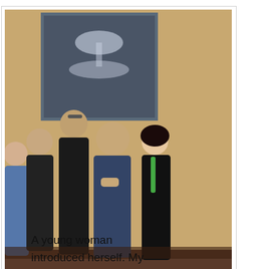[Figure (photo): Group photo of several people standing together indoors in front of a painting. The group includes both men and women.]
Diane Raver, Lauren Concar, Monica Xander Berkeley, Gary Pastore, Chance Assante & Oana Marcu
A young woman introduced herself. My projection of being a journalist; the blazer, Rutgers hat. Stephanie